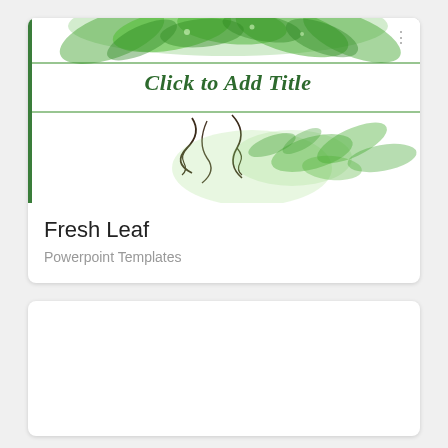[Figure (screenshot): Preview of a PowerPoint template called Fresh Leaf, showing a white slide with green floral/leaf decorations at the top and bottom, and centered italic text 'Click to Add Title' in dark green.]
Fresh Leaf
Powerpoint Templates
[Figure (screenshot): A partially visible second card/template preview, mostly white with no visible content shown.]